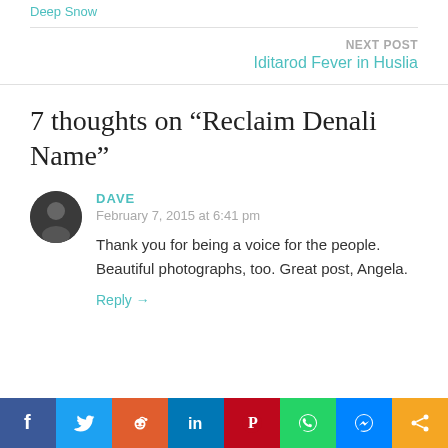Deep Snow
NEXT POST
Iditarod Fever in Huslia
7 thoughts on “Reclaim Denali Name”
DAVE
February 7, 2015 at 6:41 pm
Thank you for being a voice for the people. Beautiful photographs, too. Great post, Angela.
Reply →